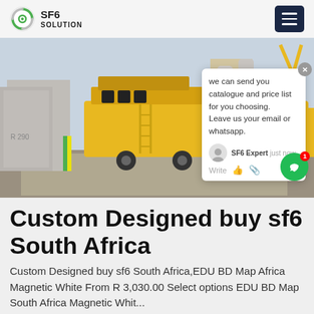SF6 SOLUTION
[Figure (photo): Yellow SF6 service truck parked at an electrical substation with industrial equipment in the background. A chat popup overlay is visible on the right side of the image.]
Custom Designed buy sf6 South Africa
Custom Designed buy sf6 South Africa,EDU BD Map Africa Magnetic White From R 3,030.00 Select options EDU BD Map South Africa Magnetic Whit...